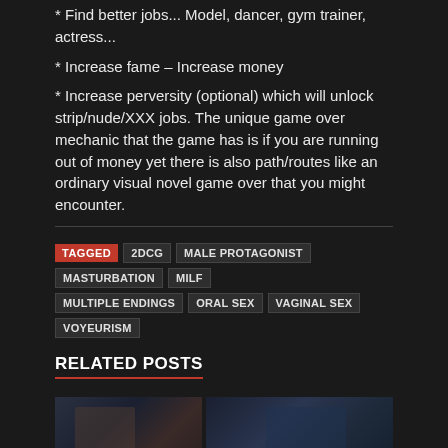* Find better jobs... Model, dancer, gym trainer, actress...
* Increase fame – Increase money
* Increase perversity (optional) which will unlock strip/nude/XXX jobs. The unique game over mechanic that the game has is if you are running out of money yet there is also path/routes like an ordinary visual novel game over that you might encounter.
TAGGED  2DCG  MALE PROTAGONIST  MASTURBATION  MILF  MULTIPLE ENDINGS  ORAL SEX  VAGINAL SEX  VOYEURISM
RELATED POSTS
[Figure (photo): Two dark thumbnail images for related posts]